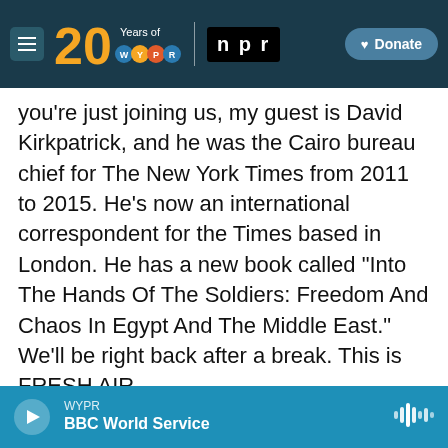[Figure (screenshot): WYPR/NPR website top navigation bar with 20 Years of WYPR logo, NPR logo, and Donate button on dark teal background]
you're just joining us, my guest is David Kirkpatrick, and he was the Cairo bureau chief for The New York Times from 2011 to 2015. He's now an international correspondent for the Times based in London. He has a new book called "Into The Hands Of The Soldiers: Freedom And Chaos In Egypt And The Middle East." We'll be right back after a break. This is FRESH AIR.
(SOUNDBITE OF AVISHAI COHEN SONG, "GBEDE TEMIN")
GROSS: This is FRESH AIR. If you're just joining us,
[Figure (screenshot): Audio player bar at bottom with play button, WYPR station label, BBC World Service show title, and waveform icon on blue background]